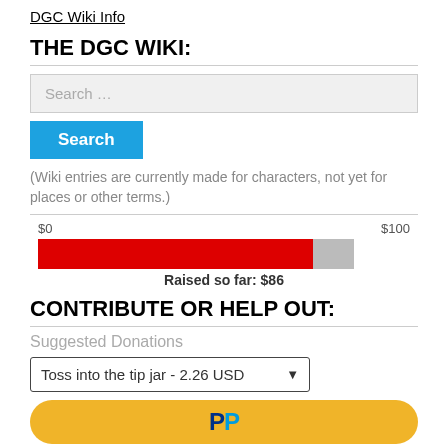DGC Wiki Info
THE DGC WIKI:
Search …
Search
(Wiki entries are currently made for characters, not yet for places or other terms.)
[Figure (other): Progress bar showing donation goal. $0 to $100, raised so far: $86. Red filled bar ~86%, gray remainder.]
Raised so far: $86
CONTRIBUTE OR HELP OUT:
Suggested Donations
Toss into the tip jar - 2.26 USD
[Figure (logo): PayPal button in gold/yellow rounded rectangle]